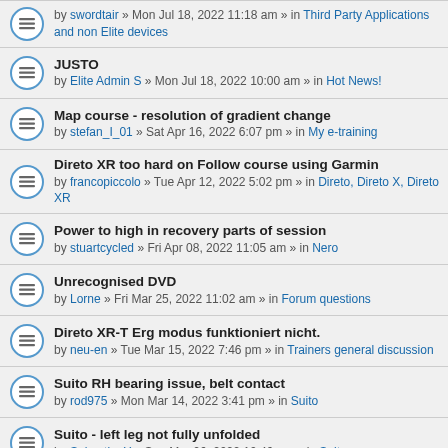by swordtair » Mon Jul 18, 2022 11:18 am » in Third Party Applications and non Elite devices
JUSTO
by Elite Admin S » Mon Jul 18, 2022 10:00 am » in Hot News!
Map course - resolution of gradient change
by stefan_I_01 » Sat Apr 16, 2022 6:07 pm » in My e-training
Direto XR too hard on Follow course using Garmin
by francopiccolo » Tue Apr 12, 2022 5:02 pm » in Direto, Direto X, Direto XR
Power to high in recovery parts of session
by stuartcycled » Fri Apr 08, 2022 11:05 am » in Nero
Unrecognised DVD
by Lorne » Fri Mar 25, 2022 11:02 am » in Forum questions
Direto XR-T Erg modus funktioniert nicht.
by neu-en » Tue Mar 15, 2022 7:46 pm » in Trainers general discussion
Suito RH bearing issue, belt contact
by rod975 » Mon Mar 14, 2022 3:41 pm » in Suito
Suito - left leg not fully unfolded
by SebastienY » Sun Mar 06, 2022 10:46 am » in Suito
Slope Simulation: Calculation Method?
by pbanders@yahoo.com » Wed Mar 02, 2022 3:44 pm » in My e-training
I'm asking for help :(
by baltazar_1 » Wed Mar 02, 2022 11:48 am » in My e-training
Time measure problem